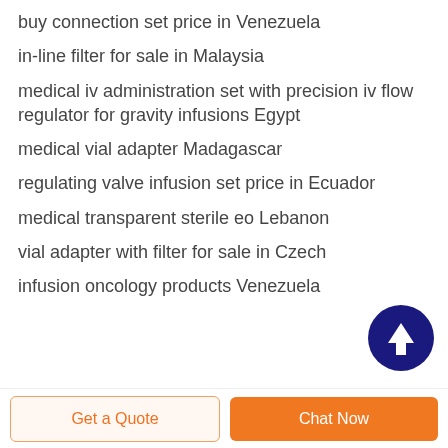buy connection set price in Venezuela
in-line filter for sale in Malaysia
medical iv administration set with precision iv flow regulator for gravity infusions Egypt
medical vial adapter Madagascar
regulating valve infusion set price in Ecuador
medical transparent sterile eo Lebanon
vial adapter with filter for sale in Czech
infusion oncology products Venezuela
[Figure (other): Dark blue circular scroll-to-top button with white upward arrow]
Get a Quote
Chat Now